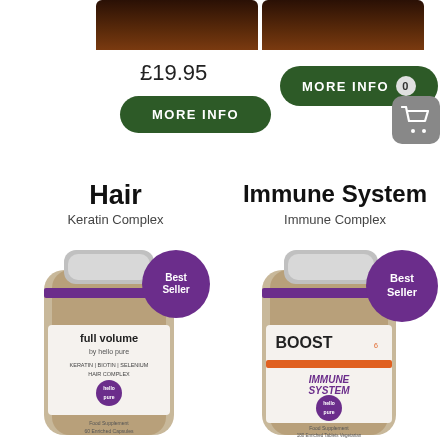[Figure (photo): Cropped bottom of a dark supplement bottle, left side]
[Figure (photo): Cropped bottom of a dark supplement bottle, right side]
£19.95
[Figure (other): Green pill-shaped MORE INFO button, left]
[Figure (other): Green pill-shaped MORE INFO button with '0' badge, right]
[Figure (other): Grey rounded square shopping cart icon button]
Hair
Keratin Complex
Immune System
Immune Complex
[Figure (photo): Full volume by hello pure supplement bottle — Hair Keratin Complex, 60 Enriched Capsules, with purple Best Seller badge]
[Figure (photo): BOOST by hello pure supplement bottle — Immune System, 180 Enriched Tablets, Vegetarian, with purple Best Seller badge]